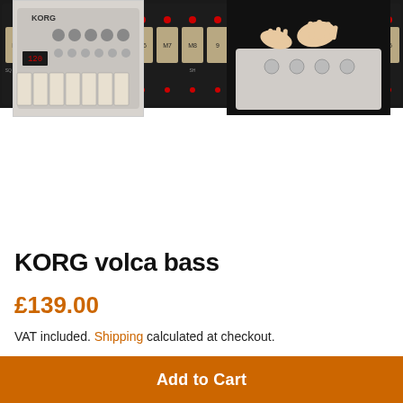[Figure (photo): Top-down photo of a KORG Volca bass synthesizer step sequencer panel with buttons labeled M1-M16, glowing red LEDs, and gold/dark keys on a black body.]
[Figure (photo): Small thumbnail of the full KORG Volca Bass synthesizer unit showing controls, knobs, display, and mini keys.]
[Figure (photo): Hands adjusting knobs on a silver/white synthesizer against a dark background.]
KORG volca bass
£139.00
VAT included. Shipping calculated at checkout.
Add to Cart